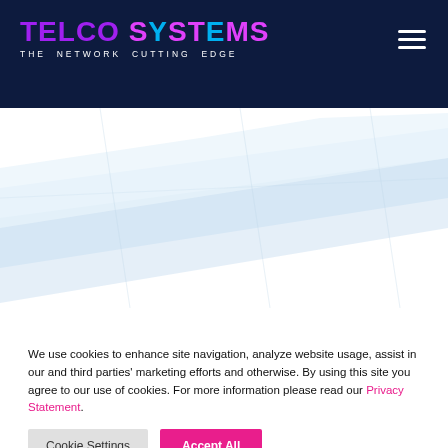TELCO SYSTEMS THE NETWORK CUTTING EDGE
[Figure (illustration): Hero section with light blue diagonal wave/geometric shapes on white background]
We use cookies to enhance site navigation, analyze website usage, assist in our and third parties' marketing efforts and otherwise. By using this site you agree to our use of cookies. For more information please read our Privacy Statement.
Cookie Settings | Accept All